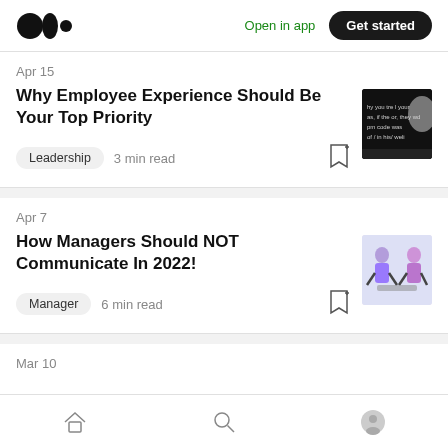Medium logo | Open in app | Get started
Apr 15
Why Employee Experience Should Be Your Top Priority
Leadership  3 min read
Apr 7
How Managers Should NOT Communicate In 2022!
Manager  6 min read
Mar 10
Home | Search | Profile